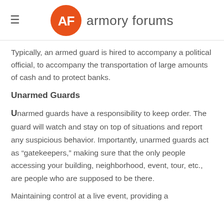armory forums
Typically, an armed guard is hired to accompany a political official, to accompany the transportation of large amounts of cash and to protect banks.
Unarmed Guards
Unarmed guards have a responsibility to keep order. The guard will watch and stay on top of situations and report any suspicious behavior. Importantly, unarmed guards act as “gatekeepers,” making sure that the only people accessing your building, neighborhood, event, tour, etc., are people who are supposed to be there.
Maintaining control at a live event, providing a